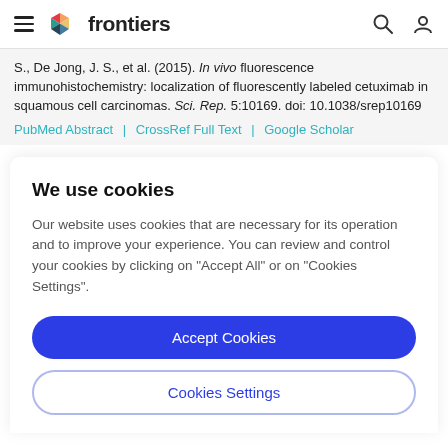frontiers
S., De Jong, J. S., et al. (2015). In vivo fluorescence immunohistochemistry: localization of fluorescently labeled cetuximab in squamous cell carcinomas. Sci. Rep. 5:10169. doi: 10.1038/srep10169
PubMed Abstract | CrossRef Full Text | Google Scholar
We use cookies
Our website uses cookies that are necessary for its operation and to improve your experience. You can review and control your cookies by clicking on "Accept All" or on "Cookies Settings".
Accept Cookies
Cookies Settings